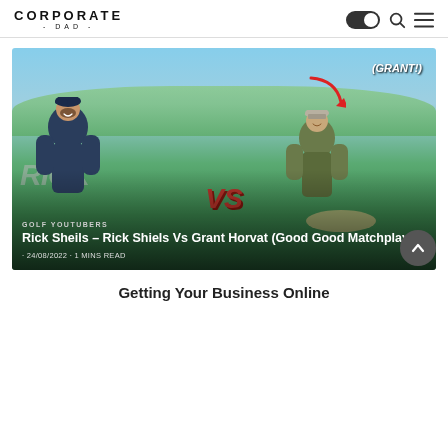CORPORATE DAD
[Figure (photo): Thumbnail image for a golf YouTube video featuring Rick Sheils vs Grant Horvat, two men smiling with a golf course background, red arrow pointing to Grant labeled '(GRANT!)', large 'RICK VS' text overlay, with category tag 'GOLF YOUTUBERS', article title 'Rick Sheils – Rick Shiels Vs Grant Horvat (Good Good Matchplay)', date '24/08/2022', '1 MINS READ']
Getting Your Business Online